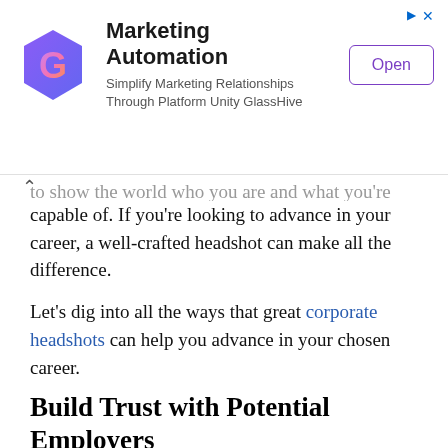[Figure (other): GlassHive Marketing Automation advertisement banner with logo, text, and Open button]
...to show the world who you are and what you're capable of. If you're looking to advance in your career, a well-crafted headshot can make all the difference.
Let's dig into all the ways that great corporate headshots can help you advance in your chosen career.
Build Trust with Potential Employers
In today's job market, employers are increasingly looking for candidates with a strong online presence. A corporate headshot is one of the best ways to show that you're a modern professional who is comfortable using digital tools and platforms. Having a headshot on your LinkedIn profile...